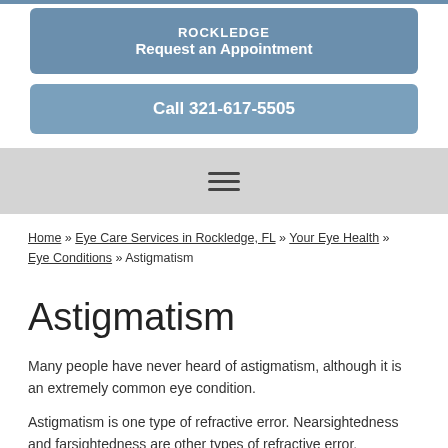[Figure (other): Blue button: ROCKLEDGE / Request an Appointment]
[Figure (other): Blue button: Call 321-617-5505]
[Figure (other): Hamburger navigation menu icon on gray bar]
Home » Eye Care Services in Rockledge, FL » Your Eye Health » Eye Conditions » Astigmatism
Astigmatism
Many people have never heard of astigmatism, although it is an extremely common eye condition.
Astigmatism is one type of refractive error. Nearsightedness and farsightedness are other types of refractive error. Refractive errors are not eye diseases. Refractive error is a